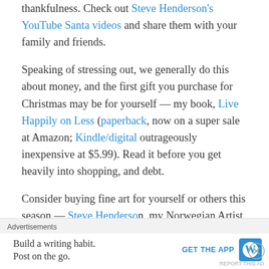thankfulness. Check out Steve Henderson's YouTube Santa videos and share them with your family and friends.
Speaking of stressing out, we generally do this about money, and the first gift you purchase for Christmas may be for yourself — my book, Live Happily on Less (paperback, now on a super sale at Amazon; Kindle/digital outrageously inexpensive at $5.99). Read it before you get heavily into shopping, and debt.
Consider buying fine art for yourself or others this season — Steve Henderson, my Norwegian Artist, creates original paintings for reasonable, reachable prices, and because he believes that fine art belongs in the homes of everyone,
[Figure (screenshot): Advertisement bar at bottom: 'Advertisements' label, then 'Build a writing habit. Post on the go.' with 'GET THE APP' button and WordPress logo]